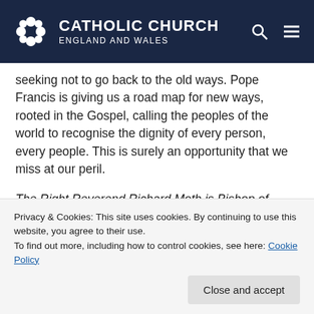CATHOLIC CHURCH ENGLAND AND WALES
seeking not to go back to the old ways. Pope Francis is giving us a road map for new ways, rooted in the Gospel, calling the peoples of the world to recognise the dignity of every person, every people. This is surely an opportunity that we miss at our peril.
The Right Reverend Richard Moth is Bishop of Arundel and Brighton and chair of the Department for Social Justice at the Bishops' Conference of England and
Privacy & Cookies: This site uses cookies. By continuing to use this website, you agree to their use.
To find out more, including how to control cookies, see here: Cookie Policy